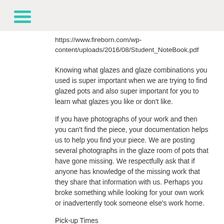≡
https://www.fireborn.com/wp-content/uploads/2016/08/Student_NoteBook.pdf
Knowing what glazes and glaze combinations you used is super important when we are trying to find glazed pots and also super important for you to learn what glazes you like or don't like.
If you have photographs of your work and then you can't find the piece, your documentation helps us to help you find your piece. We are posting several photographs in the glaze room of pots that have gone missing. We respectfully ask that if anyone has knowledge of the missing work that they share that information with us. Perhaps you broke something while looking for your own work or inadvertently took someone else's work home.
Pick-up Times